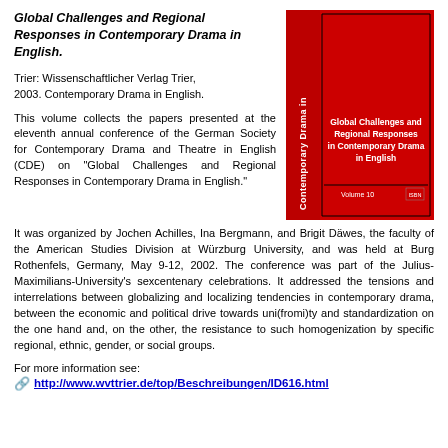Global Challenges and Regional Responses in Contemporary Drama in English.
Trier: Wissenschaftlicher Verlag Trier, 2003. Contemporary Drama in English.
[Figure (illustration): Red book cover titled 'Contemporary Drama in English' Volume 10, with subtitle 'Global Challenges and Regional Responses in Contemporary Drama in English' on right side panel]
This volume collects the papers presented at the eleventh annual conference of the German Society for Contemporary Drama and Theatre in English (CDE) on “Global Challenges and Regional Responses in Contemporary Drama in English.” It was organized by Jochen Achilles, Ina Bergmann, and Brigit Däwes, the faculty of the American Studies Division at Würzburg University, and was held at Burg Rothenfels, Germany, May 9-12, 2002. The conference was part of the Julius-Maximilians-University’s sexcentenary celebrations. It addressed the tensions and interrelations between globalizing and localizing tendencies in contemporary drama, between the economic and political drive towards uni(fromi)ty and standardization on the one hand and, on the other, the resistance to such homogenization by specific regional, ethnic, gender, or social groups.
For more information see:
http://www.wvttrier.de/top/Beschreibungen/ID616.html